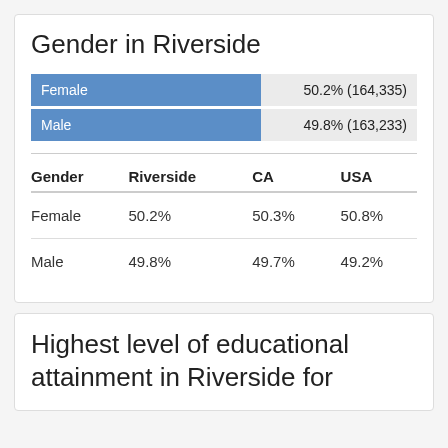Gender in Riverside
[Figure (bar-chart): Gender in Riverside]
| Gender | Riverside | CA | USA |
| --- | --- | --- | --- |
| Female | 50.2% | 50.3% | 50.8% |
| Male | 49.8% | 49.7% | 49.2% |
Highest level of educational attainment in Riverside for